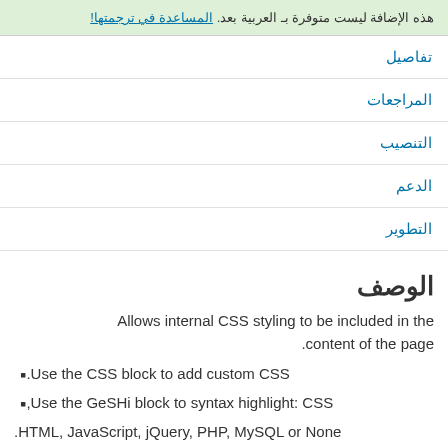هذه الإضافة ليست متوفرة بـ العربية بعد. المساعدة في ترجمتها!
تفاصيل
المراجعات
التنصيب
الدعم
التطوير
الوصف
Allows internal CSS styling to be included in the content of the page.
Use the CSS block to add custom CSS.
Use the GeSHi block to syntax highlight: CSS, HTML, JavaScript, jQuery, PHP, MySQL or None.